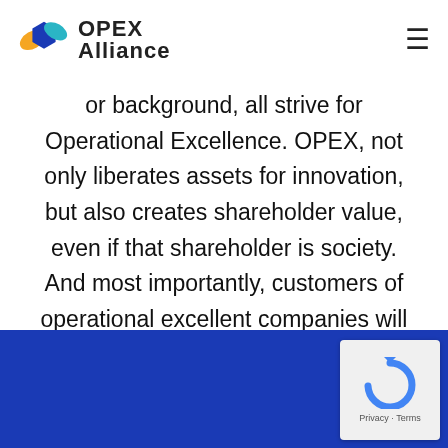OPEX Alliance [logo] [hamburger menu]
or background, all strive for Operational Excellence. OPEX, not only liberates assets for innovation, but also creates shareholder value, even if that shareholder is society. And most importantly, customers of operational excellent companies will be the first and direct beneficiaries.
[Figure (logo): reCAPTCHA badge with circular arrow icon and Privacy · Terms text]